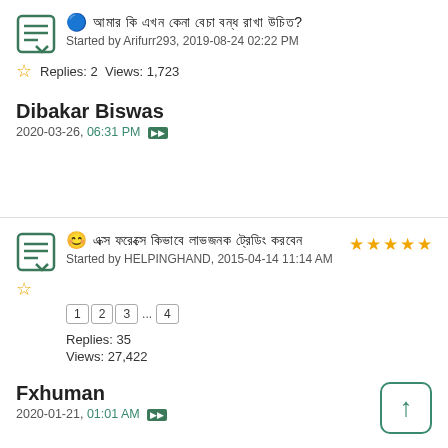🔵 [Bengali text] Started by Arifurr293, 2019-08-24 02:22 PM
Replies: 2 Views: 1,723
Dibakar Biswas
2020-03-26, 06:31 PM
😊 [Bengali text] ★★★★★ Started by HELPINGHAND, 2015-04-14 11:14 AM
Replies: 35 Views: 27,422
Fxhuman
2020-01-21, 01:01 AM